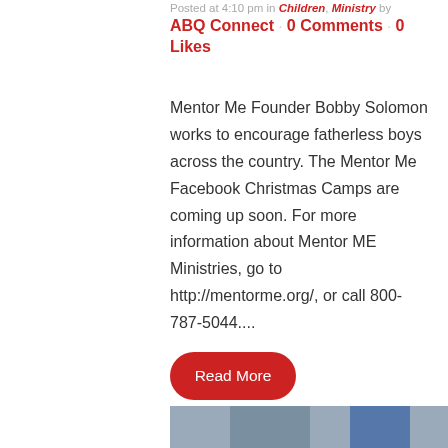Posted at 4:10 pm in Children, Ministry by ABQ Connect · 0 Comments · 0 Likes
Mentor Me Founder Bobby Solomon works to encourage fatherless boys across the country. The Mentor Me Facebook Christmas Camps are coming up soon. For more information about Mentor ME Ministries, go to http://mentorme.org/, or call 800-787-5044....
Read More
[Figure (other): A circular scroll-to-top button with a red border and an upward-pointing arrow inside]
[Figure (photo): A partial photo of a person at the bottom of the page]